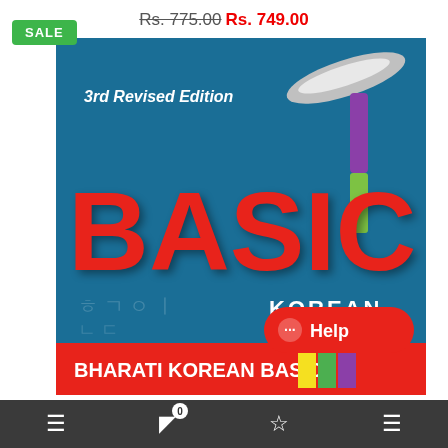Rs. 775.00 Rs. 749.00
[Figure (illustration): Book cover for 'Basic Korean' 3rd Revised Edition by Bharati Korean Basic, featuring large red 'BASIC' text on a dark teal/blue background with Korean characters watermark, decorative swoosh logo top right, purple and green vertical bars in the 'I', and color squares (yellow, green, purple) at the bottom. Bottom red banner reads 'BHARATI KOREAN BASIC'.]
0